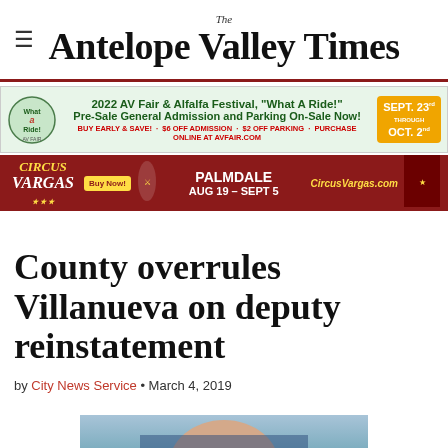The Antelope Valley Times
[Figure (infographic): AV Fair & Alfalfa Festival advertisement banner for 2022, mentioning Pre-Sale General Admission and Parking On-Sale Now, dates Sept. 23rd through Oct. 2nd, buy early and save $6 off admission, $2 off parking, purchase online at AVFair.com]
[Figure (infographic): Circus Vargas advertisement banner, Palmdale AUG 19 - SEPT 5, CircusVargas.com]
County overrules Villanueva on deputy reinstatement
by City News Service • March 4, 2019
[Figure (photo): Portrait photo of a man in front of an American flag]